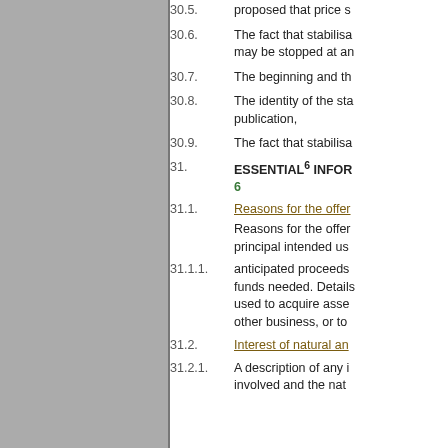30.5. proposed that price s
30.6. The fact that stabilisa may be stopped at an
30.7. The beginning and th
30.8. The identity of the sta publication,
30.9. The fact that stabilisa
31. ESSENTIAL6 INFOR 6
31.1. Reasons for the offer
Reasons for the offer principal intended us
31.1.1. anticipated proceeds funds needed. Details used to acquire asse other business, or to
31.2. Interest of natural an
31.2.1. A description of any i involved and the nat